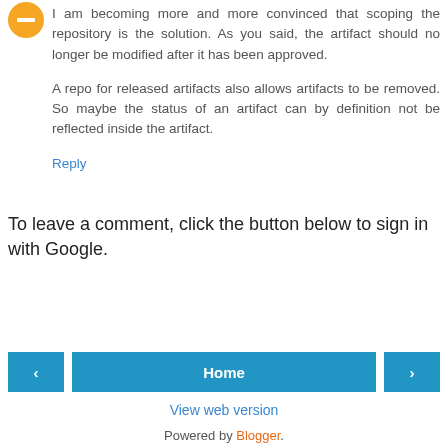[Figure (illustration): Orange circular avatar icon with white minus/dash symbol in center]
I am becoming more and more convinced that scoping the repository is the solution. As you said, the artifact should no longer be modified after it has been approved.

A repo for released artifacts also allows artifacts to be removed. So maybe the status of an artifact can by definition not be reflected inside the artifact.
Reply
To leave a comment, click the button below to sign in with Google.
SIGN IN WITH GOOGLE
‹
Home
›
View web version
Powered by Blogger.